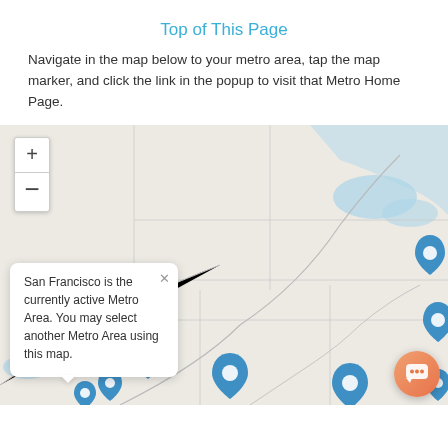Top of This Page
Navigate in the map below to your metro area, tap the map marker, and click the link in the popup to visit that Metro Home Page.
[Figure (map): Interactive map of the United States showing zoom controls (+/-) in the upper left. A popup tooltip reads: 'San Francisco is the currently active Metro Area. You may select another Metro Area using this map.' Multiple blue map marker pins are visible across the western and central US. An orange chat button appears in the bottom right corner.]